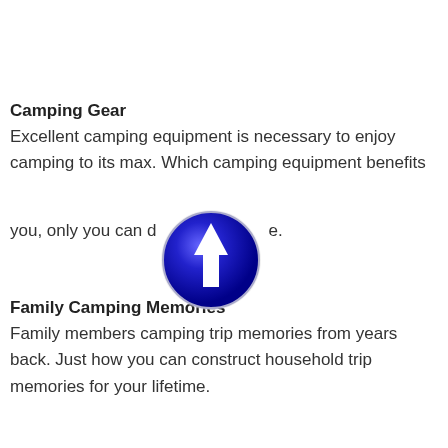Camping Gear
Excellent camping equipment is necessary to enjoy camping to its max. Which camping equipment benefits you, only you can decide.
[Figure (illustration): Blue circular icon with white upward-pointing arrow, overlaid on text]
Family Camping Memories
Family members camping trip memories from years back. Just how you can construct household trip memories for your lifetime.